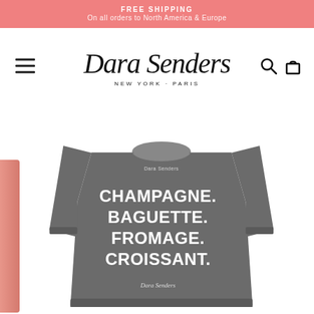FREE SHIPPING
On all orders to North America & Europe
[Figure (logo): Dara Senders New York - Paris brand logo in cursive script]
[Figure (photo): Grey crewneck sweatshirt with white text reading CHAMPAGNE. BAGUETTE. FROMAGE. CROISSANT. on the front, displayed on white background]